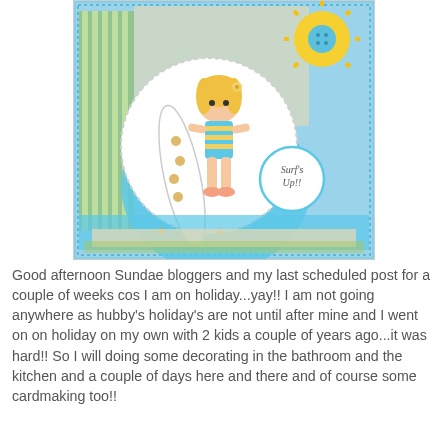[Figure (photo): A handmade craft card featuring a cartoon girl with blonde hair holding a surfboard decorated with flowers, wearing a striped swimsuit. The card background is light blue with patterned paper layers. A decorative sun embellishment with a blue button center is in the top right corner. A small circular tag reads 'Surf's Up!!'. The overall card is blue-themed with a summer/beach theme.]
Good afternoon Sundae bloggers and my last scheduled post for a couple of weeks cos I am on holiday...yay!! I am not going anywhere as hubby's holiday's are not until after mine and I went on on holiday on my own with 2 kids a couple of years ago...it was hard!! So I will doing some decorating in the bathroom and the kitchen and a couple of days here and there and of course some cardmaking too!!